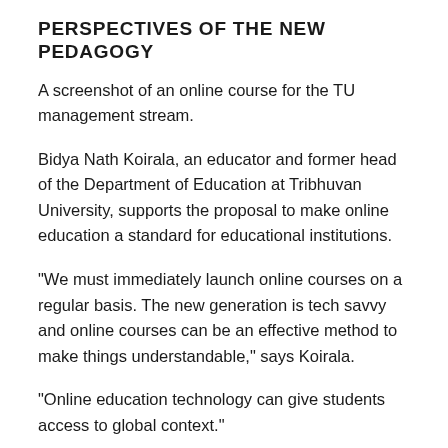PERSPECTIVES OF THE NEW PEDAGOGY
A screenshot of an online course for the TU management stream.
Bidya Nath Koirala, an educator and former head of the Department of Education at Tribhuvan University, supports the proposal to make online education a standard for educational institutions.
“We must immediately launch online courses on a regular basis. The new generation is tech savvy and online courses can be an effective method to make things understandable,” says Koirala.
“Online education technology can give students access to global context.”
Koirala, however, believes that to make virtual classrooms effective, teachers should primarily focus on their teaching